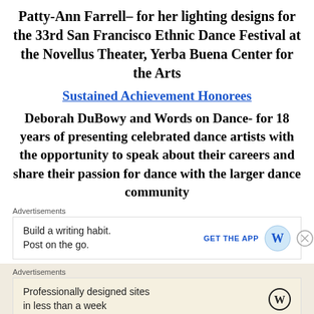Patty-Ann Farrell– for her lighting designs for the 33rd San Francisco Ethnic Dance Festival at the Novellus Theater, Yerba Buena Center for the Arts
Sustained Achievement Honorees
Deborah DuBowy and Words on Dance- for 18 years of presenting celebrated dance artists with the opportunity to speak about their careers and share their passion for dance with the larger dance community
Advertisements
Build a writing habit. Post on the go.
GET THE APP
Advertisements
Professionally designed sites in less than a week